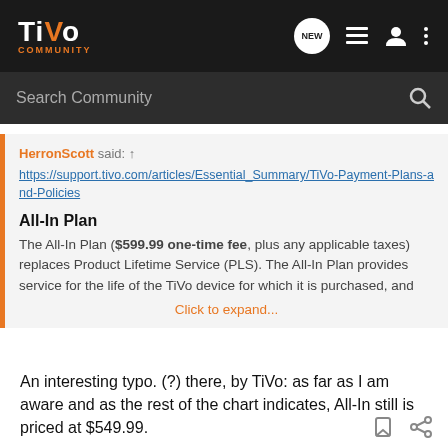TiVo Community
Search Community
HerronScott said: ↑
https://support.tivo.com/articles/Essential_Summary/TiVo-Payment-Plans-and-Policies

All-In Plan
The All-In Plan ($599.99 one-time fee, plus any applicable taxes) replaces Product Lifetime Service (PLS). The All-In Plan provides service for the life of the TiVo device for which it is purchased, and
Click to expand...
An interesting typo. (?) there, by TiVo: as far as I am aware and as the rest of the chart indicates, All-In still is priced at $549.99.